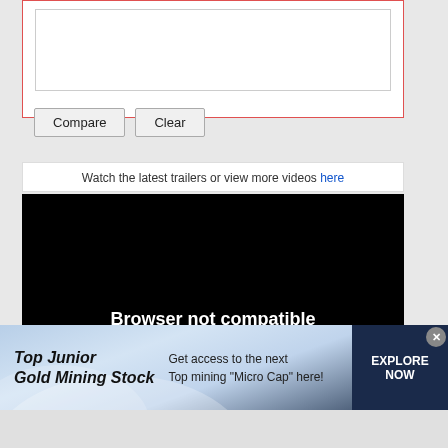[Figure (screenshot): A text area input box (empty) inside a red-bordered form section]
Compare    Clear
Watch the latest trailers or view more videos here
[Figure (screenshot): Black video player area showing 'Browser not compatible' and 'You may need to update your browser']
[Figure (infographic): Advertisement banner: 'Top Junior Gold Mining Stock' - Get access to the next Top mining Micro Cap here! EXPLORE NOW]